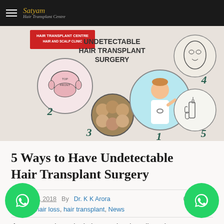Satyam Hair Transplant Centre
[Figure (infographic): Infographic titled 'Undetectable Hair Transplant Surgery' showing 5 numbered circular illustrations: 2=scalp diagram, 3=various hairstyles, 1=doctor figure, 4=close-up face, 5=syringe injection. Satyam Hair Transplant Centre Hair and Scalp Clinic logo top left.]
5 Ways to Have Undetectable Hair Transplant Surgery
August 14, 2018  By Dr. K K Arora  0  0
le, blog, hair loss, hair transplant, News
If you want to have the hair transplant in Kolkata then